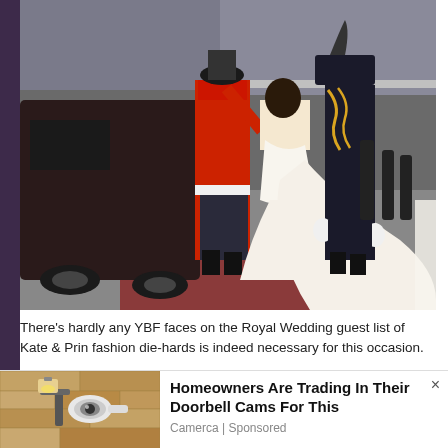[Figure (photo): Royal Wedding photo showing a bride in a long white wedding gown with an extended train, being assisted by men in military uniforms (red and black ceremonial dress), arriving at a venue. Crowds visible in the background behind barriers.]
There's hardly any YBF faces on the Royal Wedding guest list of Kate & Prince William...fashion die-hards is indeed necessary for this occasion.
[Figure (photo): Advertisement image showing a security camera mounted on a stone wall exterior, with warm yellow tones.]
Homeowners Are Trading In Their Doorbell Cams For This
Camerca | Sponsored